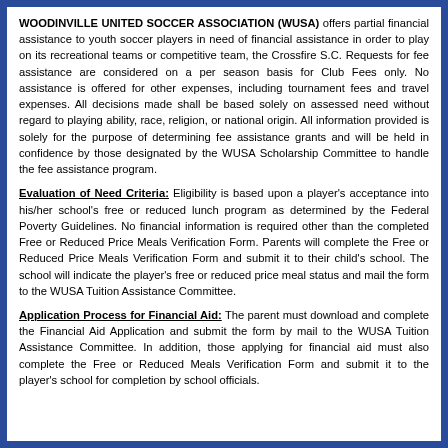WOODINVILLE UNITED SOCCER ASSOCIATION (WUSA) offers partial financial assistance to youth soccer players in need of financial assistance in order to play on its recreational teams or competitive team, the Crossfire S.C. Requests for fee assistance are considered on a per season basis for Club Fees only. No assistance is offered for other expenses, including tournament fees and travel expenses. All decisions made shall be based solely on assessed need without regard to playing ability, race, religion, or national origin. All information provided is solely for the purpose of determining fee assistance grants and will be held in confidence by those designated by the WUSA Scholarship Committee to handle the fee assistance program.
Evaluation of Need Criteria: Eligibility is based upon a player's acceptance into his/her school's free or reduced lunch program as determined by the Federal Poverty Guidelines. No financial information is required other than the completed Free or Reduced Price Meals Verification Form. Parents will complete the Free or Reduced Price Meals Verification Form and submit it to their child's school. The school will indicate the player's free or reduced price meal status and mail the form to the WUSA Tuition Assistance Committee.
Application Process for Financial Aid: The parent must download and complete the Financial Aid Application and submit the form by mail to the WUSA Tuition Assistance Committee. In addition, those applying for financial aid must also complete the Free or Reduced Meals Verification Form and submit it to the player's school for completion by school officials.